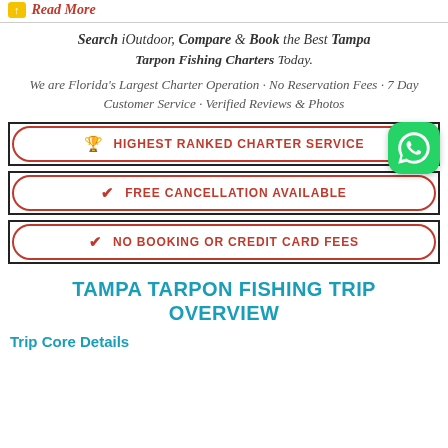Read More
Search iOutdoor, Compare & Book the Best Tampa Tarpon Fishing Charters Today.
We are Florida's Largest Charter Operation · No Reservation Fees · 7 Day Customer Service · Verified Reviews & Photos
🏆 HIGHEST RANKED CHARTER SERVICE
✔ FREE CANCELLATION AVAILABLE
✔ NO BOOKING OR CREDIT CARD FEES
TAMPA TARPON FISHING TRIP OVERVIEW
Trip Core Details